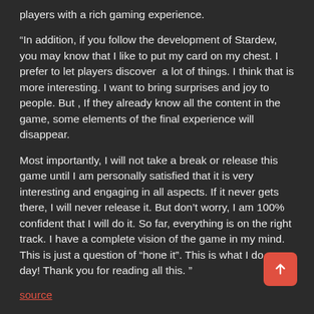players with a rich gaming experience.
“In addition, if you follow the development of Stardew, you may know that I like to put my card on my chest. I prefer to let players discover a lot of things. I think that is more interesting. I want to bring surprises and joy to people. But , If they already know all the content in the game, some elements of the final experience will disappear.
Most importantly, I will not take a break or release this game until I am personally satisfied that it is very interesting and engaging in all aspects. If it never gets there, I will never release it. But don’t worry, I am 100% confident that I will do it. So far, everything is on the right track. I have a complete vision of the game in my mind. This is just a question of “hone it”. This is what I do every day! Thank you for reading all this. ”
source